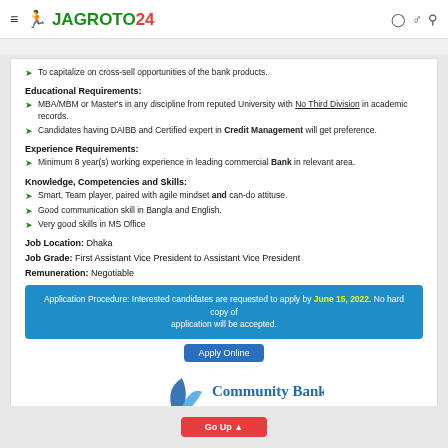JAGROTO24
To capitalize on cross-sell opportunities of the bank products.
Educational Requirements:
MBA/MBM or Master's in any discipline from reputed University with No Third Division in academic records.
Candidates having DAIBB and Certified expert in Credit Management will get preference.
Experience Requirements:
Minimum 8 year(s) working experience in leading commercial Bank in relevant area.
Knowledge, Competencies and Skills:
Smart, Team player, paired with agile mindset and can-do attituse.
Good communication skill in Bangla and English.
Very good skills in MS Office
Job Location: Dhaka
Job Grade: First Assistant Vice President to Assistant Vice President
Remuneration: Negotiable
Application Procedure: Interested candidates are requested to apply by June 15, 2022. No hard copy of application will be accepted.
[Figure (logo): Community Bank logo with sail graphic and tagline: Trust • Security • Progress]